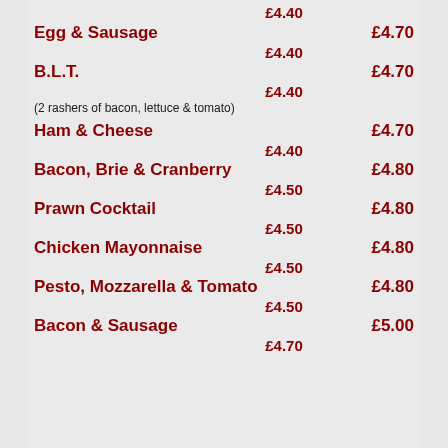£4.40
Egg & Sausage   £4.70
£4.40
B.L.T.   £4.70
£4.40
(2 rashers of bacon, lettuce & tomato)
Ham & Cheese   £4.70
£4.40
Bacon, Brie & Cranberry   £4.80
£4.50
Prawn Cocktail   £4.80
£4.50
Chicken Mayonnaise   £4.80
£4.50
Pesto, Mozzarella & Tomato   £4.80
£4.50
Bacon & Sausage   £5.00
£4.70